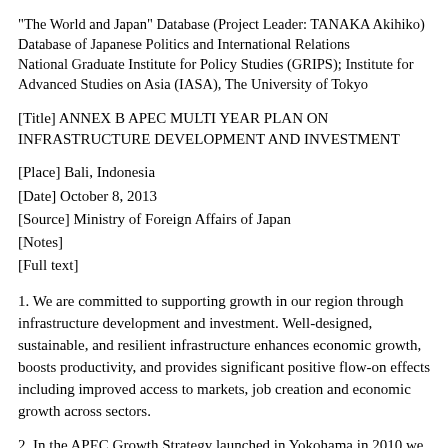"The World and Japan" Database (Project Leader: TANAKA Akihiko)
Database of Japanese Politics and International Relations
National Graduate Institute for Policy Studies (GRIPS); Institute for Advanced Studies on Asia (IASA), The University of Tokyo
[Title] ANNEX B APEC MULTI YEAR PLAN ON INFRASTRUCTURE DEVELOPMENT AND INVESTMENT
[Place] Bali, Indonesia
[Date] October 8, 2013
[Source] Ministry of Foreign Affairs of Japan
[Notes]
[Full text]
1. We are committed to supporting growth in our region through infrastructure development and investment. Well-designed, sustainable, and resilient infrastructure enhances economic growth, boosts productivity, and provides significant positive flow-on effects including improved access to markets, job creation and economic growth across sectors.
2. In the APEC Growth Strategy launched in Yokohama in 2010 we stated that APEC can use its convening power to help create a platform to develop innovative solutions, and provide technical